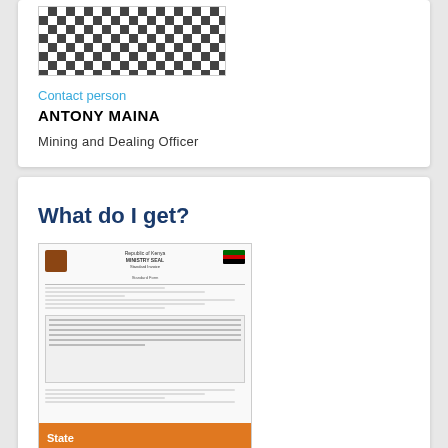[Figure (photo): Black and white checkered/gingham patterned fabric or shirt, close-up photo]
Contact person
ANTONY MAINA
Mining and Dealing Officer
What do I get?
[Figure (photo): Thumbnail image of a State Department of Mining invoice document]
State Department of Mining invoice
Additional information